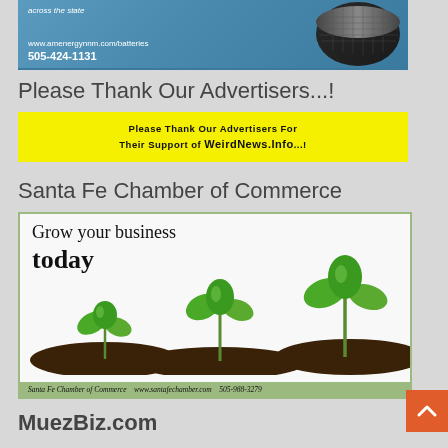[Figure (illustration): Top advertisement banner with blue background showing battery image and text: 'across the state', 'www.amenergynnm.com/batteries', '505-424-1131']
Please Thank Our Advertisers...!
[Figure (illustration): Yellow banner reading: 'Please Thank Our Advertisers For Their Support of WeirdNews.Info...!']
Santa Fe Chamber of Commerce
[Figure (illustration): Santa Fe Chamber of Commerce advertisement showing growing plants with text 'Grow your business today' and footer 'Santa Fe Chamber of Commerce  www.santafechamber.com  505-988-3279']
MuezBiz.com